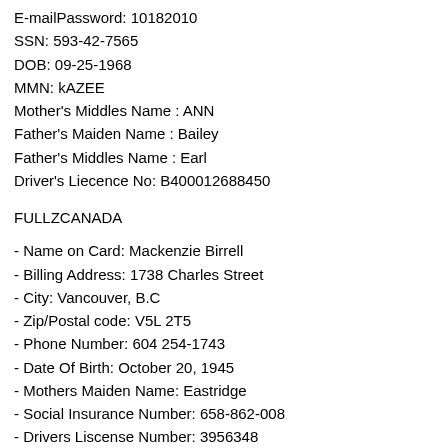E-mailPassword: 10182010
SSN: 593-42-7565
DOB: 09-25-1968
MMN: kAZEE
Mother's Middles Name : ANN
Father's Maiden Name : Bailey
Father's Middles Name : Earl
Driver's Liecence No: B400012688450
FULLZCANADA
- Name on Card: Mackenzie Birrell
- Billing Address: 1738 Charles Street
- City: Vancouver, B.C
- Zip/Postal code: V5L 2T5
- Phone Number: 604 254-1743
- Date Of Birth: October 20, 1945
- Mothers Maiden Name: Eastridge
- Social Insurance Number: 658-862-008
- Drivers Liscense Number: 3956348
- Years at Current Address: 15
- Bank: VANCOUVER CITY SAVINGS C.U.
- CType: CREDIT - VISA GOLD/PREM
Card Number: 4789071000630756
- Expiration Date Year: 2017